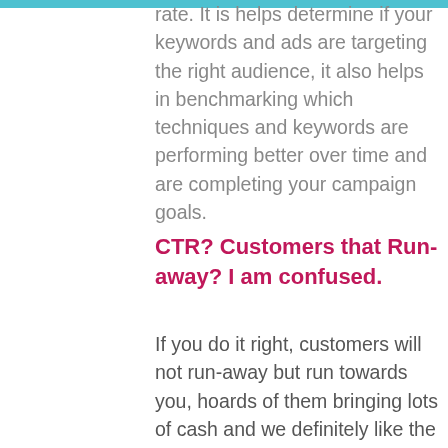rate. It is helps determine if your keywords and ads are targeting the right audience, it also helps in benchmarking which techniques and keywords are performing better over time and are completing your campaign goals.
CTR? Customers that Run-away? I am confused.
If you do it right, customers will not run-away but run towards you, hoards of them bringing lots of cash and we definitely like the sound of that. This all sounds very exciting but how can we